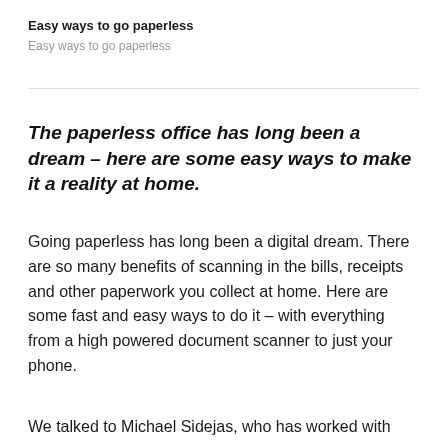Easy ways to go paperless
Easy ways to go paperless
The paperless office has long been a dream – here are some easy ways to make it a reality at home.
Going paperless has long been a digital dream. There are so many benefits of scanning in the bills, receipts and other paperwork you collect at home. Here are some fast and easy ways to do it – with everything from a high powered document scanner to just your phone.
We talked to Michael Sidejas, who has worked with